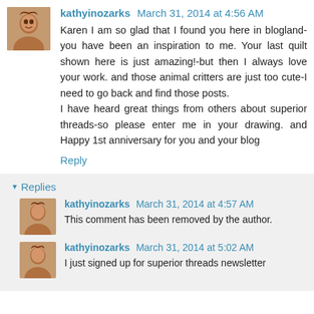kathyinozarks March 31, 2014 at 4:56 AM
Karen I am so glad that I found you here in blogland-you have been an inspiration to me. Your last quilt shown here is just amazing!-but then I always love your work. and those animal critters are just too cute-I need to go back and find those posts.
I have heard great things from others about superior threads-so please enter me in your drawing. and Happy 1st anniversary for you and your blog
Reply
Replies
kathyinozarks March 31, 2014 at 4:57 AM
This comment has been removed by the author.
kathyinozarks March 31, 2014 at 5:02 AM
I just signed up for superior threads newsletter